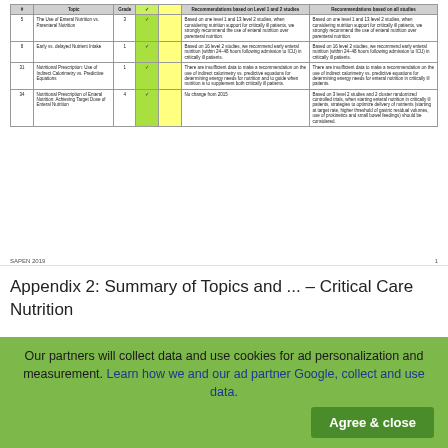[Figure (table-as-image): Partial table showing topics related to Critical Care Nutrition with columns for topic number, topic name, grade, consensus checkmarks, and recommendation text columns. Rows include topics about Enteral vs Parenteral Nutrition, Early vs Delayed Nutrient Intake, Nutritional Prescription (indirect calorimetry vs predictive equations), and Nutritional Prescription of Enteral Nutrition. Green and yellow column highlights visible.]
SAPEN 2019    1
Appendix 2: Summary of Topics and ... – Critical Care Nutrition
Read more
Our partners will collect data and use cookies for ad personalization and measurement. Learn how we and our ad partner Google, collect and use data.
Agree & close